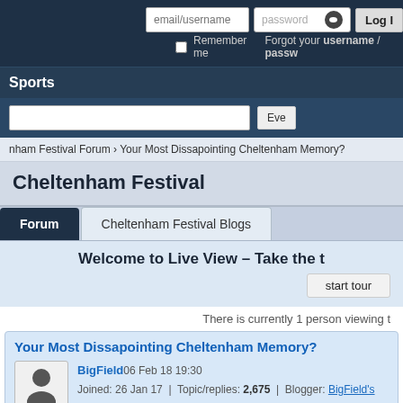[Figure (screenshot): Login form with email/username and password fields, Log In button]
Remember me    Forgot your username / passw...
Sports
[Figure (screenshot): Search bar input field with Eve... button]
nham Festival Forum › Your Most Dissapointing Cheltenham Memory?
Cheltenham Festival
Forum    Cheltenham Festival Blogs
Welcome to Live View – Take the t...
start tour
There is currently 1 person viewing t...
Your Most Dissapointing Cheltenham Memory?
BigField 06 Feb 18 19:30
Joined: 26 Jan 17  |  Topic/replies: 2,675  |  Blogger: BigField's blog